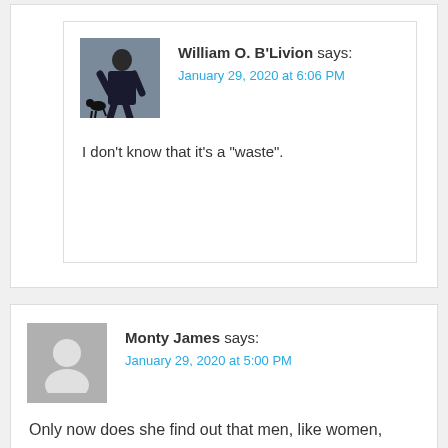William O. B'Livion says:
January 29, 2020 at 6:06 PM
I don't know that it's a “waste”.
Monty James says:
January 29, 2020 at 5:00 PM
Only now does she find out that men, like women, chatter about trivial bullshit. Just not the trivial bullshit that she wants to chatter